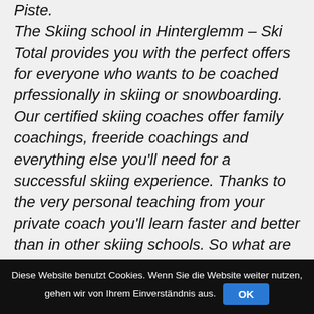Piste. The Skiing school in Hinterglemm – Ski Total provides you with the perfect offers for everyone who wants to be coached prfessionally in skiing or snowboarding. Our certified skiing coaches offer family coachings, freeride coachings and everything else you'll need for a successful skiing experience. Thanks to the very personal teaching from your private coach you'll learn faster and better than in other skiing schools. So what are you still waiting for? Come and start today with Ski Total Hinterglemm. Your personal skiing coach/guide is
Diese Website benutzt Cookies. Wenn Sie die Website weiter nutzen, gehen wir von Ihrem Einverständnis aus.